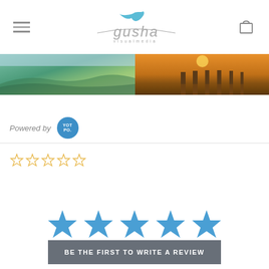[Figure (logo): Gusha Visual Media logo with bird icon and italic text]
[Figure (photo): Two panoramic landscape photos — left: aerial river/coastal view, right: sunset pier/dock view]
Powered by YOTPO
[Figure (other): Five empty gold star rating icons]
[Figure (other): Five large solid blue star icons]
BE THE FIRST TO WRITE A REVIEW